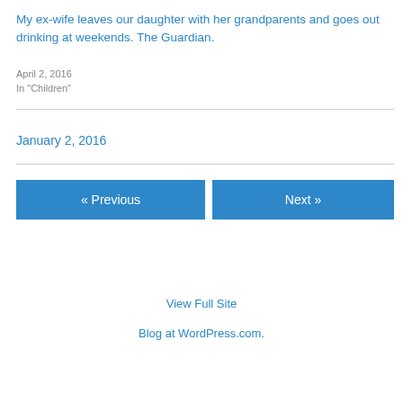My ex-wife leaves our daughter with her grandparents and goes out drinking at weekends. The Guardian.
April 2, 2016
In "Children"
January 2, 2016
« Previous
Next »
View Full Site
Blog at WordPress.com.